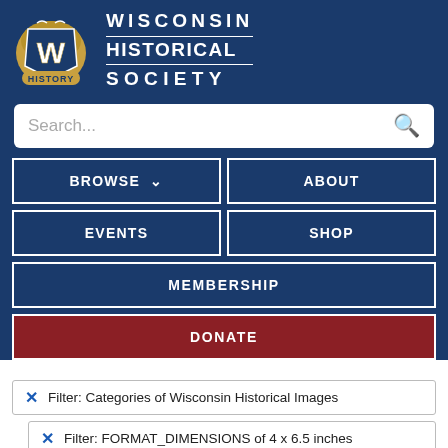[Figure (logo): Wisconsin Historical Society logo – stylized W with baseball glove and 'HISTORY' banner]
WISCONSIN HISTORICAL SOCIETY
Search...
BROWSE
ABOUT
EVENTS
SHOP
MEMBERSHIP
DONATE
Filter: Categories of Wisconsin Historical Images
Filter: FORMAT_DIMENSIONS of 4 x 6.5 inches